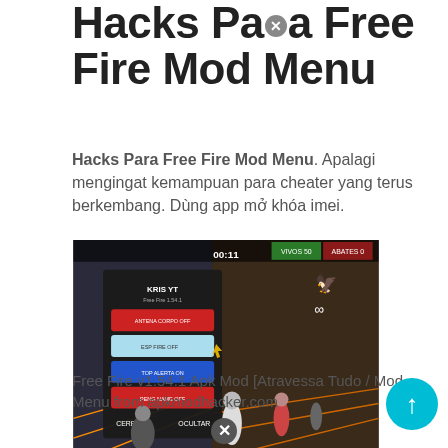Hacks Para Free Fire Mod Menu
Hacks Para Free Fire Mod Menu. Apalagi mengingat kemampuan para cheater yang terus berkembang. Dùng app mở khóa imei.
[Figure (screenshot): Screenshot of Free Fire game with a mod menu overlay showing options: ANTENA CORPO OFF (red), ESP FIRE OFF (light blue with cursor), TOP ALERTA ON (blue), PENGNAME OFF (red), with CERRAR and OCULTAR buttons. Background shows game environment with characters.]
Free Fire v1.54.1 Apk Mod [Atravessa Tudo / Mod Menu from apkmodhacker.com